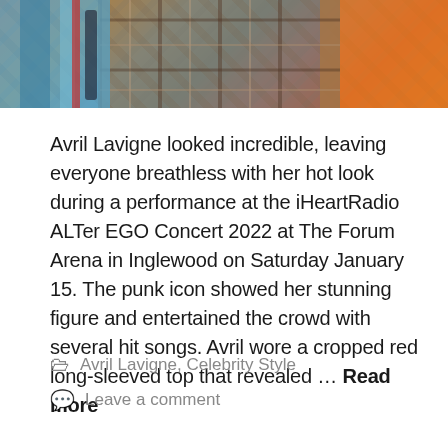[Figure (photo): A cropped performance photo showing colorful clothing — plaid, teal, red and orange colors — at a concert.]
Avril Lavigne looked incredible, leaving everyone breathless with her hot look during a performance at the iHeartRadio ALTer EGO Concert 2022 at The Forum Arena in Inglewood on Saturday January 15. The punk icon showed her stunning figure and entertained the crowd with several hit songs. Avril wore a cropped red long-sleeved top that revealed … Read more
Avril Lavigne, Celebrity Style
Leave a comment